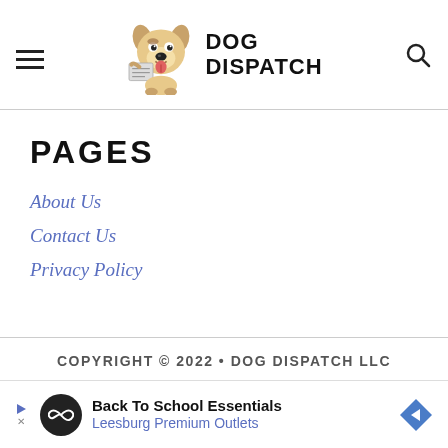DOG DISPATCH
PAGES
About Us
Contact Us
Privacy Policy
COPYRIGHT © 2022 • DOG DISPATCH LLC
[Figure (other): Advertisement banner: Back To School Essentials - Leesburg Premium Outlets]